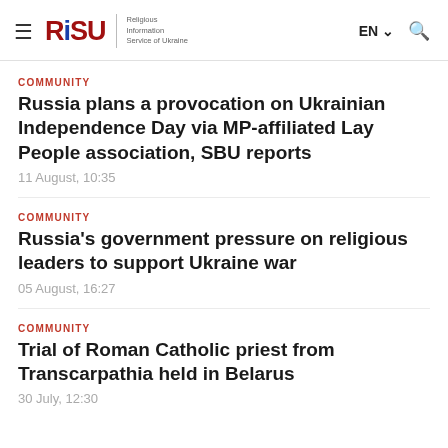RISU — Religious Information Service of Ukraine | EN | Search
COMMUNITY
Russia plans a provocation on Ukrainian Independence Day via MP-affiliated Lay People association, SBU reports
11 August, 10:35
COMMUNITY
Russia's government pressure on religious leaders to support Ukraine war
05 August, 16:27
COMMUNITY
Trial of Roman Catholic priest from Transcarpathia held in Belarus
30 July, 12:30